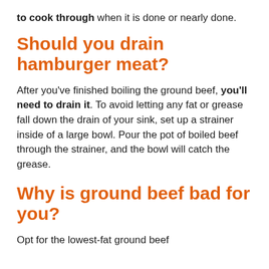to cook through when it is done or nearly done.
Should you drain hamburger meat?
After you've finished boiling the ground beef, you'll need to drain it. To avoid letting any fat or grease fall down the drain of your sink, set up a strainer inside of a large bowl. Pour the pot of boiled beef through the strainer, and the bowl will catch the grease.
Why is ground beef bad for you?
Opt for the lowest-fat ground beef